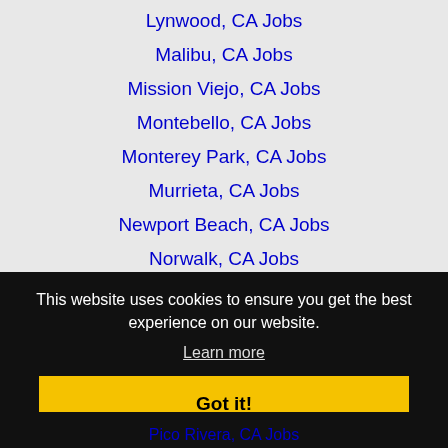Lynwood, CA Jobs
Malibu, CA Jobs
Mission Viejo, CA Jobs
Montebello, CA Jobs
Monterey Park, CA Jobs
Murrieta, CA Jobs
Newport Beach, CA Jobs
Norwalk, CA Jobs
Oceanside, CA Jobs
Orange, CA Jobs
This website uses cookies to ensure you get the best experience on our website.
Learn more
Got it!
Pico Rivera, CA Jobs